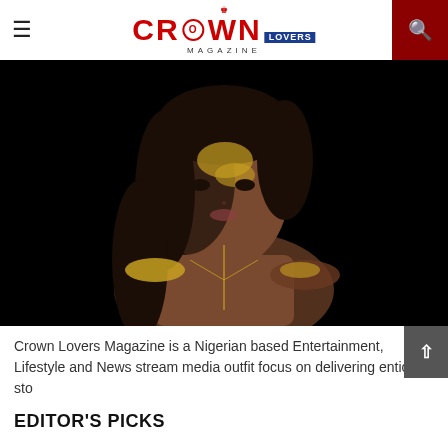Crown Lovers Magazine
[Figure (photo): Dark studio portrait of a woman with gold body paint on her face and shoulders, wearing a body chain, against a black background.]
Crown Lovers Magazine is a Nigerian based Entertainment, Lifestyle and News stream media outfit focus on delivering enticing sto...
EDITOR'S PICKS